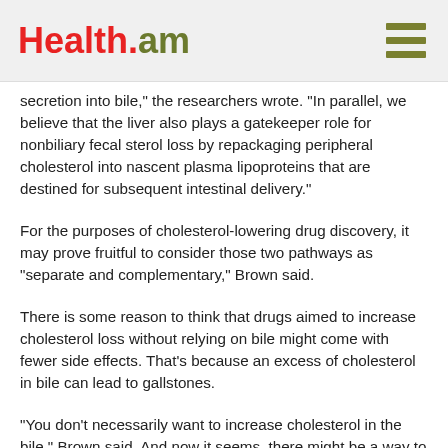Health.am
secretion into bile," the researchers wrote. "In parallel, we believe that the liver also plays a gatekeeper role for nonbiliary fecal sterol loss by repackaging peripheral cholesterol into nascent plasma lipoproteins that are destined for subsequent intestinal delivery."
For the purposes of cholesterol-lowering drug discovery, it may prove fruitful to consider those two pathways as “separate and complementary,” Brown said.
There is some reason to think that drugs aimed to increase cholesterol loss without relying on bile might come with fewer side effects. That's because an excess of cholesterol in bile can lead to gallstones.
“You don’t necessarily want to increase cholesterol in the bile,” Brown said. And now it seems, there might be a way to get rid of cholesterol without having to.
###